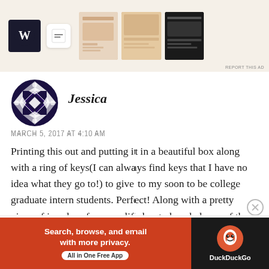[Figure (screenshot): Top advertisement banner showing WordPress and Squarespace logos with website screenshot mockups on a cream background. 'REPORT THIS AD' text in bottom right.]
Jessica
MARCH 5, 2017 AT 4:10 AM
Printing this out and putting it in a beautiful box along with a ring of keys(I can always find keys that I have no idea what they go to!) to give to my soon to be college graduate intern students. Perfect! Along with a pretty piece of jewelry of course, life has to be a balance of the meaningful and the beautiful. My wish is to
Advertisements
[Figure (screenshot): DuckDuckGo advertisement: orange/red left panel with text 'Search, browse, and email with more privacy. All in One Free App' and dark right panel with DuckDuckGo duck logo.]